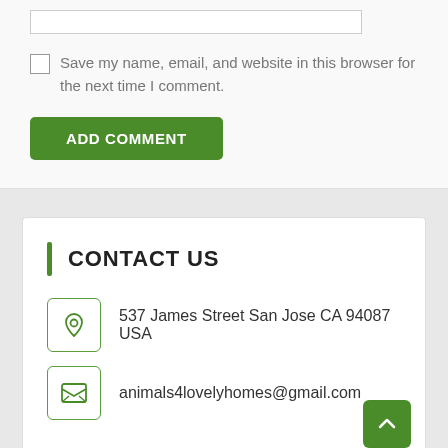Save my name, email, and website in this browser for the next time I comment.
ADD COMMENT
CONTACT US
537 James Street San Jose CA 94087 USA
animals4lovelyhomes@gmail.com